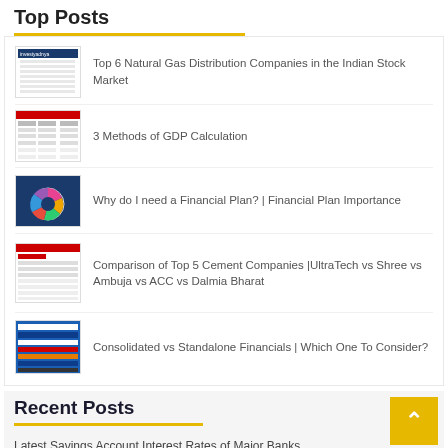Top Posts
Top 6 Natural Gas Distribution Companies in the Indian Stock Market
3 Methods of GDP Calculation
Why do I need a Financial Plan? | Financial Plan Importance
Comparison of Top 5 Cement Companies |UltraTech vs Shree vs Ambuja vs ACC vs Dalmia Bharat
Consolidated vs Standalone Financials | Which One To Consider?
Recent Posts
Latest Savings Account Interest Rates of Major Banks
Latest Recurring Deposit Interest Rates of Major Banks